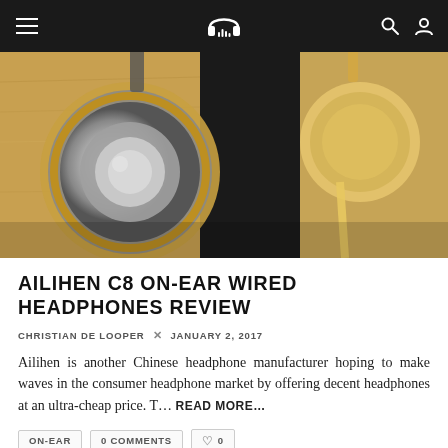Navigation bar with hamburger menu, headphone logo, search and user icons
[Figure (photo): Close-up photo of headphones on a wooden surface, showing metallic and wooden ear cups]
AILIHEN C8 ON-EAR WIRED HEADPHONES REVIEW
CHRISTIAN DE LOOPER × JANUARY 2, 2017
Ailihen is another Chinese headphone manufacturer hoping to make waves in the consumer headphone market by offering decent headphones at an ultra-cheap price. T… READ MORE…
ON-EAR   0 COMMENTS   ♡ 0